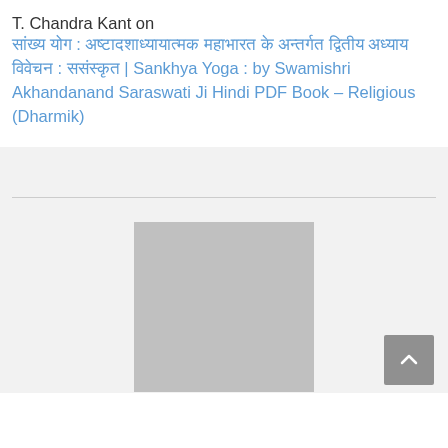T. Chandra Kant on सांख्य योग : अष्टादशाध्यायात्मक महाभारत के अन्तर्गत द्वितीय अध्याय विवेचन : ससंस्कृत | Sankhya Yoga : by Swamishri Akhandanand Saraswati Ji Hindi PDF Book – Religious (Dharmik)
[Figure (other): Gray placeholder image rectangle, approximately 180x170px, centered horizontally in a light gray section below a horizontal divider line. A dark gray back-to-top button with an upward arrow is positioned at the bottom right.]